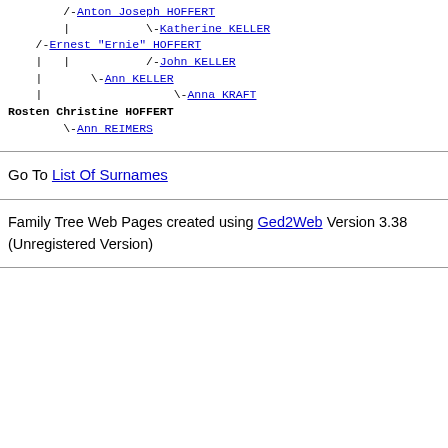/-Anton Joseph HOFFERT | \-Katherine KELLER /-Ernest "Ernie" HOFFERT | | /-John KELLER | \-Ann KELLER | \-Anna KRAFT Rosten Christine HOFFERT \-Ann REIMERS
Go To List Of Surnames
Family Tree Web Pages created using Ged2Web Version 3.38 (Unregistered Version)